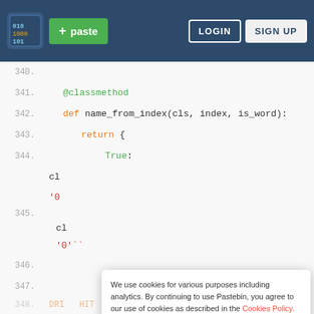[Figure (screenshot): Pastebin website header with logo, green paste button, LOGIN and SIGN UP buttons on dark blue background]
340.
341.    @classmethod
342.    def name_from_index(cls, index, is_word):
343.        return {
344.            True:
345.
346.
347.
We use cookies for various purposes including analytics. By continuing to use Pastebin, you agree to our use of cookies as described in the Cookies Policy. OK, I Understand
Not a member of Pastebin yet? Sign Up, it unlocks many cool features!
[Figure (screenshot): Walgreens advertisement: Shop Walgreens Brand, Walgreens Photo with W logo and map direction icon]